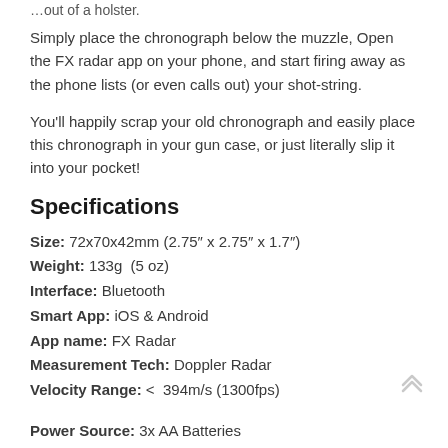Simply place the chronograph below the muzzle, Open the FX radar app on your phone, and start firing away as the phone lists (or even calls out) your shot-string.
You'll happily scrap your old chronograph and easily place this chronograph in your gun case, or just literally slip it into your pocket!
Specifications
Size: 72x70x42mm (2.75″ x 2.75″ x 1.7″)
Weight: 133g  (5 oz)
Interface: Bluetooth
Smart App: iOS & Android
App name: FX Radar
Measurement Tech: Doppler Radar
Velocity Range: <  394m/s (1300fps)
Power Source: 3x AA Batteries